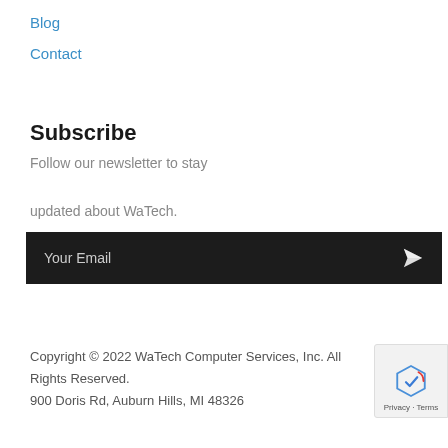Blog
Contact
Subscribe
Follow our newsletter to stay updated about WaTech.
[Figure (other): Email subscription input bar with dark background, placeholder text 'Your Email' and a paper airplane send icon on the right]
Copyright © 2022 WaTech Computer Services, Inc. All Rights Reserved.
900 Doris Rd, Auburn Hills, MI 48326